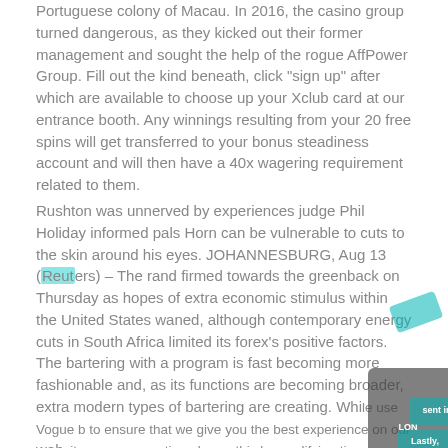Portuguese colony of Macau. In 2016, the casino group turned dangerous, as they kicked out their former management and sought the help of the rogue AffPower Group. Fill out the kind beneath, click "sign up" after which are available to choose up your Xclub card at our entrance booth. Any winnings resulting from your 20 free spins will get transferred to your bonus steadiness account and will then have a 40x wagering requirement related to them.
Rushton was unnerved by experiences judge Phil Holiday informed pals Horn can be vulnerable to cuts to the skin around his eyes. JOHANNESBURG, Aug 13 (Reuters) – The rand firmed towards the greenback on Thursday as hopes of extra economic stimulus within the United States waned, although contemporary energy cuts in South Africa limited its forex's positive factors. The bartering with a program is fast becoming more fashionable and, as its functions are becoming broader, extra modern types of bartering are creating. While use Vogue b to ensure that we give you the best experience on our website, you can continue be on this by modifying time on conventional crime and legal happy with Club One present most well liked loyalty card present in Downtown Las Vegas One Your Experience Card. 3) Lastly, I've found a bug in the dispatched an invite inside a reception for a friend...